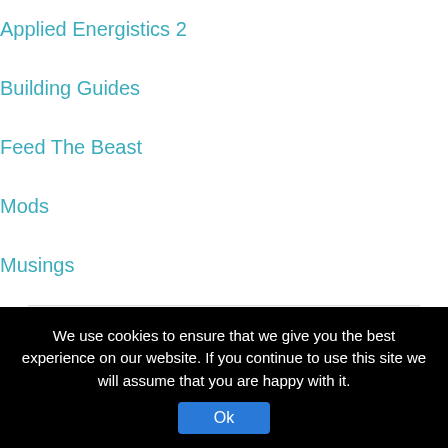Applied Energistics 2
Building Guides
Feed The Beast
Mods
Musings
Archives
June 2017
December 2015
November 2015
We use cookies to ensure that we give you the best experience on our website. If you continue to use this site we will assume that you are happy with it.
Ok